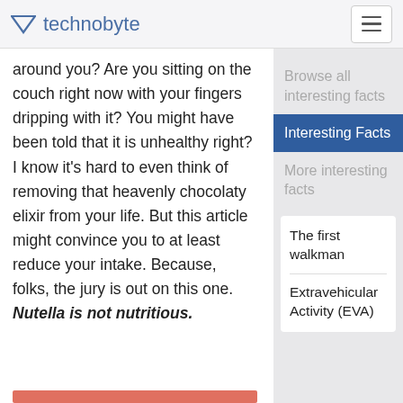technobyte
around you? Are you sitting on the couch right now with your fingers dripping with it? You might have been told that it is unhealthy right? I know it’s hard to even think of removing that heavenly chocolaty elixir from your life. But this article might convince you to at least reduce your intake. Because, folks, the jury is out on this one. Nutella is not nutritious.
Browse all interesting facts
Interesting Facts
More interesting facts
The first walkman
Extravehicular Activity (EVA)